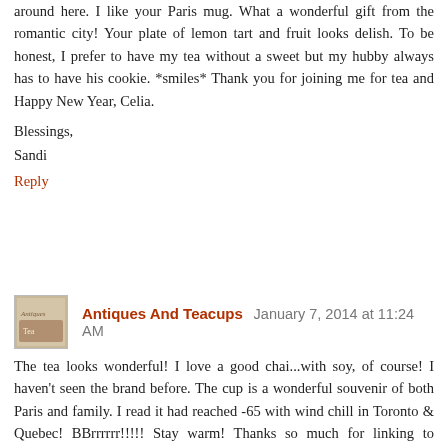around here. I like your Paris mug. What a wonderful gift from the romantic city! Your plate of lemon tart and fruit looks delish. To be honest, I prefer to have my tea without a sweet but my hubby always has to have his cookie. *smiles* Thank you for joining me for tea and Happy New Year, Celia.
Blessings,
Sandi
Reply
Antiques And Teacups  January 7, 2014 at 11:24 AM
The tea looks wonderful! I love a good chai...with soy, of course! I haven't seen the brand before. The cup is a wonderful souvenir of both Paris and family. I read it had reached -65 with wind chill in Toronto & Quebec! BBrrrrrr!!!!! Stay warm! Thanks so much for linking to Tuesday Cuppa Tea!
Ruth
Reply